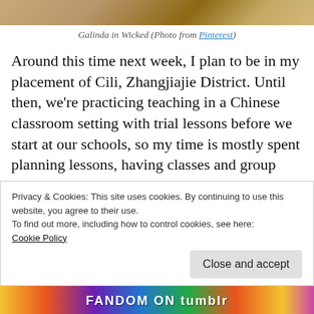[Figure (photo): Partial photo strip at top showing Galinda in Wicked costume]
Galinda in Wicked (Photo from Pinterest)
Around this time next week, I plan to be in my placement of Cili, Zhangjiajie District. Until then, we're practicing teaching in a Chinese classroom setting with trial lessons before we start at our schools, so my time is mostly spent planning lessons, having classes and group discussions, and exploring Changsha with my fellow cohorts before we all disperse
Privacy & Cookies: This site uses cookies. By continuing to use this website, you agree to their use.
To find out more, including how to control cookies, see here: Cookie Policy
[Figure (logo): Fandom on Tumblr colorful banner at bottom]